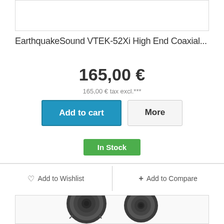[Figure (other): Top product image placeholder box (empty white box with border)]
EarthquakeSound VTEK-52Xi High End Coaxial...
165,00 €
165,00 € tax excl.***
Add to cart
More
In Stock
♡ Add to Wishlist
+ Add to Compare
[Figure (photo): Bottom product image showing two coaxial speakers (EarthquakeSound VTEK-52Xi), dark circular speaker cones visible at bottom of frame]